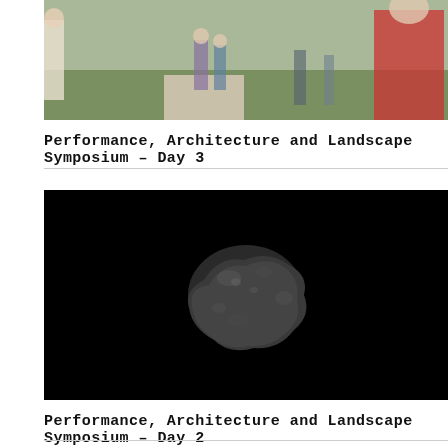[Figure (photo): Outdoor scene with people, grass and path visible, person in red shorts on right side]
Performance, Architecture and Landscape Symposium – Day 3
[Figure (photo): Dark black background with a rocky asteroid floating in the center]
Performance, Architecture and Landscape Symposium – Day 2
[Figure (photo): Partial view of another photo at bottom of page, cut off]